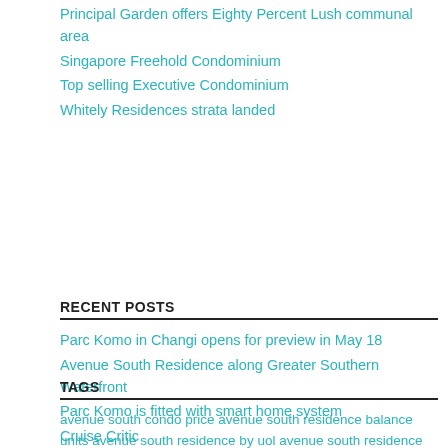Principal Garden offers Eighty Percent Lush communal area
Singapore Freehold Condominium
Top selling Executive Condominium
Whitely Residences strata landed
RECENT POSTS
Parc Komo in Changi opens for preview in May 18
Avenue South Residence along Greater Southern Waterfront
Parc Komo is fitted with smart home system
Cruise Critic
The best about Avenue South Residences
TAGS
avenue south condo price avenue south residence balance units avenue south residence by uol avenue south residence condo avenue south residence contractor